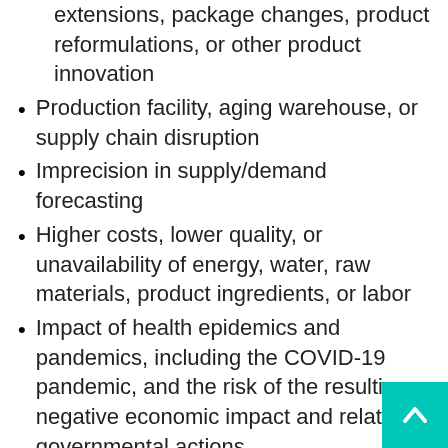extensions, package changes, product reformulations, or other product innovation
Production facility, aging warehouse, or supply chain disruption
Imprecision in supply/demand forecasting
Higher costs, lower quality, or unavailability of energy, water, raw materials, product ingredients, or labor
Impact of health epidemics and pandemics, including the COVID-19 pandemic, and the risk of the resulting negative economic impact and related governmental actions
Unfavorable global or regional economic conditions, particularly related to the COVID-19 pandemic, and related economic slowdowns or recessions, low consumer confidence, high unemployment, weak credit or capital markets,